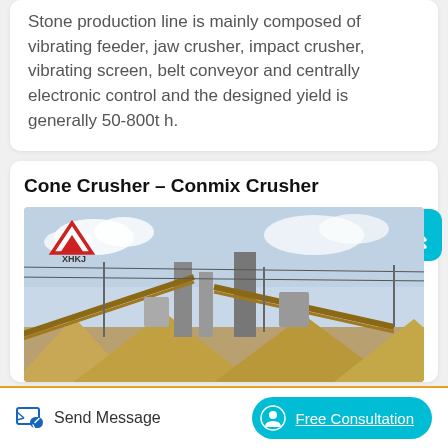Stone production line is mainly composed of vibrating feeder, jaw crusher, impact crusher, vibrating screen, belt conveyor and centrally electronic control and the designed yield is generally 50-800t h.
Cone Crusher – Conmix Crusher
[Figure (photo): Photo of a large stone crusher / aggregate processing plant facility with conveyors, silos, and machinery under an open sky. XHKJ logo (red triangle with mountain shape) is visible in the top-left corner of the image.]
Send Message
Free Consultation